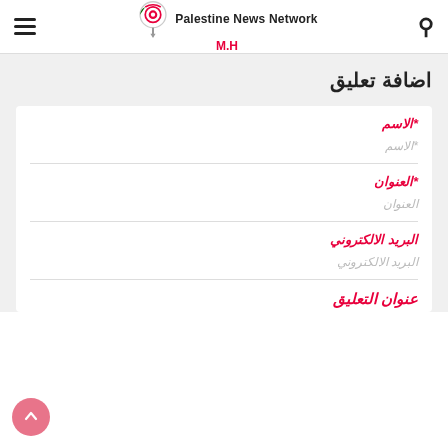Palestine News Network M.H
اضافة تعليق
*الاسم
*الاسم
*العنوان
العنوان
البريد الالكتروني
البريد الالكتروني
عنوان التعليق